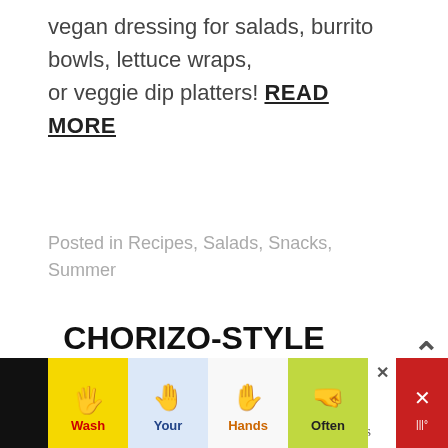vegan dressing for salads, burrito bowls, lettuce wraps, or veggie dip platters! READ MORE
Posted in Recipes, Salads, Snacks, Summer
CHORIZO-STYLE WALNUT MEAT
August 1, 2022 - Brittany Roche - 2 Comments
[Figure (photo): Partial view of food photo at bottom of page, warm golden/brown tones]
[Figure (infographic): Advertisement banner: Wash Your Hands Often with hand washing emoji icons in yellow, blue, white, green, red panels]